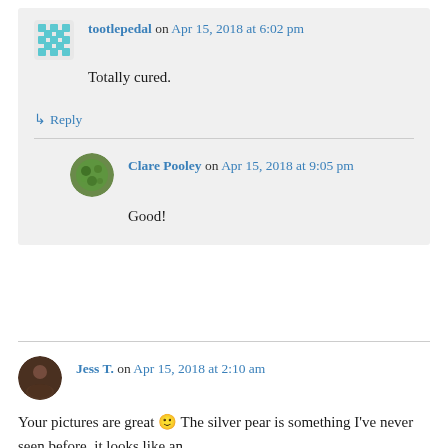tootlepedal on Apr 15, 2018 at 6:02 pm
Totally cured.
↳ Reply
Clare Pooley on Apr 15, 2018 at 9:05 pm
Good!
Jess T. on Apr 15, 2018 at 2:10 am
Your pictures are great 🙂 The silver pear is something I've never seen before, it looks like an